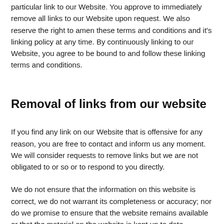particular link to our Website. You approve to immediately remove all links to our Website upon request. We also reserve the right to amen these terms and conditions and it's linking policy at any time. By continuously linking to our Website, you agree to be bound to and follow these linking terms and conditions.
Removal of links from our website
If you find any link on our Website that is offensive for any reason, you are free to contact and inform us any moment. We will consider requests to remove links but we are not obligated to or so or to respond to you directly.
We do not ensure that the information on this website is correct, we do not warrant its completeness or accuracy; nor do we promise to ensure that the website remains available or that the material on the website is kept up to date.